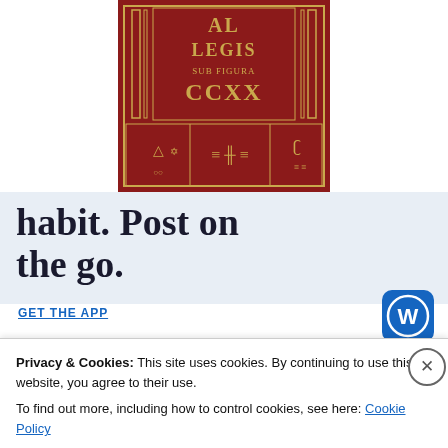[Figure (photo): A red hardcover book with gold embossed text reading 'AL... LEGIS SUB FIGURA CCXX' with Egyptian hieroglyphic-style decorations on the cover, partially cropped at top.]
habit. Post on the go.
GET THE APP
[Figure (logo): WordPress circular logo icon in blue and white]
Privacy & Cookies: This site uses cookies. By continuing to use this website, you agree to their use.
To find out more, including how to control cookies, see here: Cookie Policy
Close and accept